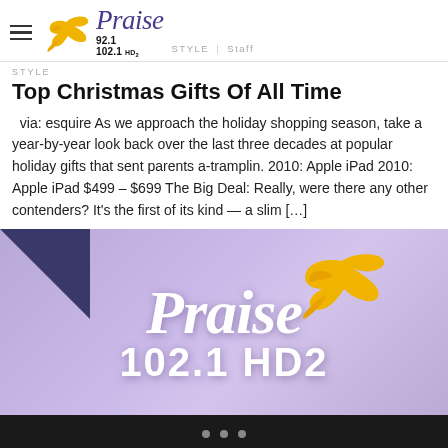Praise 92.1 102.1 HD2 | STYLE | Staff
Top Christmas Gifts Of All Time
via: esquire As we approach the holiday shopping season, take a year-by-year look back over the last three decades at popular holiday gifts that sent parents a-tramplin. 2010: Apple iPad 2010: Apple iPad $499 – $699 The Big Deal: Really, were there any other contenders? It's the first of its kind — a slim […]
[Figure (logo): Praise 102.1 HD2 radio station logo on purple/lavender cloudy background with yellow dove bird and white italic Praise text and 102.1 HD2 text]